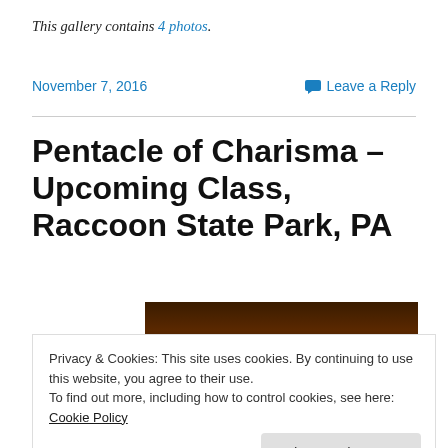This gallery contains 4 photos.
November 7, 2016
Leave a Reply
Pentacle of Charisma – Upcoming Class, Raccoon State Park, PA
[Figure (photo): Dark brown photograph, partially visible behind cookie banner]
Privacy & Cookies: This site uses cookies. By continuing to use this website, you agree to their use.
To find out more, including how to control cookies, see here: Cookie Policy
Close and accept